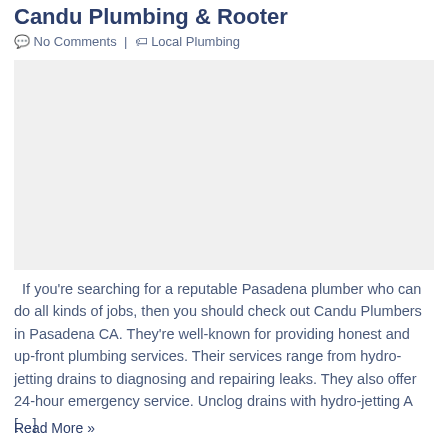Candu Plumbing & Rooter
🗨 No Comments | 🏷 Local Plumbing
[Figure (photo): Image placeholder for Candu Plumbing & Rooter article]
If you're searching for a reputable Pasadena plumber who can do all kinds of jobs, then you should check out Candu Plumbers in Pasadena CA. They're well-known for providing honest and up-front plumbing services. Their services range from hydro-jetting drains to diagnosing and repairing leaks. They also offer 24-hour emergency service. Unclog drains with hydro-jetting A […]
Read More »